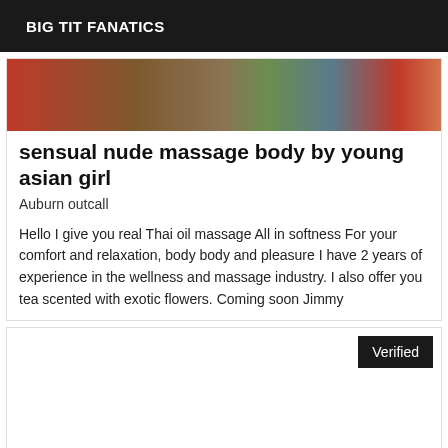BIG TIT FANATICS
[Figure (photo): Colorful textile/fabric background image with red, brown, gold, green and blue tones]
sensual nude massage body by young asian girl
Auburn outcall
Hello I give you real Thai oil massage All in softness For your comfort and relaxation, body body and pleasure I have 2 years of experience in the wellness and massage industry. I also offer you tea scented with exotic flowers. Coming soon Jimmy
Verified